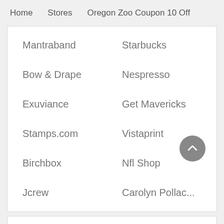Home   Stores   Oregon Zoo Coupon 10 Off
Mantraband
Starbucks
Bow & Drape
Nespresso
Exuviance
Get Mavericks
Stamps.com
Vistaprint
Birchbox
Nfl Shop
Jcrew
Carolyn Pollac...
Oregon Zoo Stats